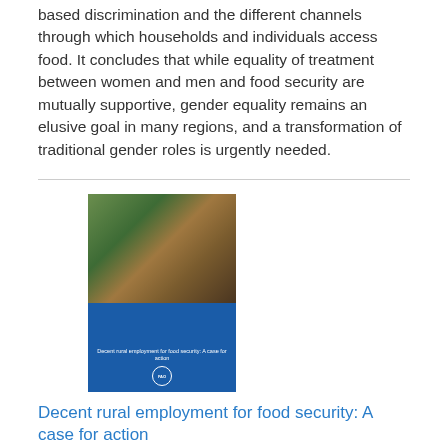based discrimination and the different channels through which households and individuals access food. It concludes that while equality of treatment between women and men and food security are mutually supportive, gender equality remains an elusive goal in many regions, and a transformation of traditional gender roles is urgently needed.
[Figure (photo): Book cover image for an FAO publication about decent rural employment for food security, showing a photograph of hands holding grain at the top and a blue background with title text at the bottom.]
Decent rural employment for food security: A case for action
Date: Sunday, 1 January 2012
Promoting decent employment is essential to achieving food security and reducing poverty. This Case for Action argues that improving policy coherence between employment and agricultural initiatives and investing more in the promotion of decent rural employment contribute highly to the interlinked challenges of fighting rural poverty and feeding a growing world population in a sustainable way.